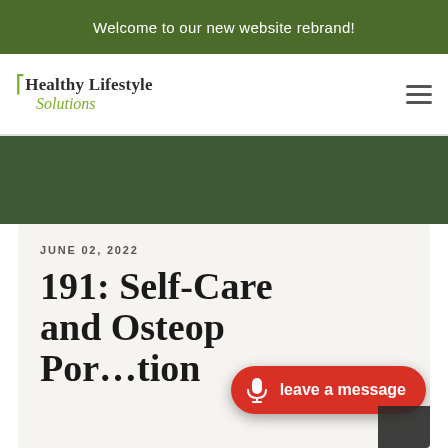Welcome to our new website rebrand!
[Figure (logo): Healthy Lifestyle Solutions logo with green leaf icon and italic green script]
JUNE 02, 2022
191: Self-Care and Osteoporosis Prevention
leave a message